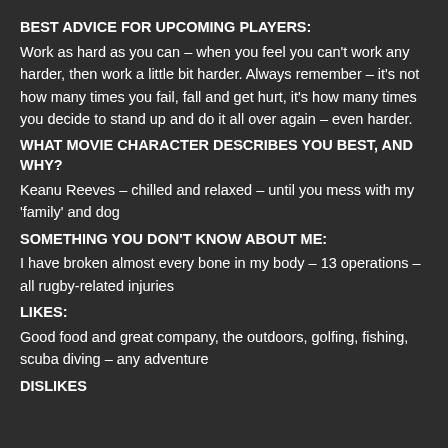BEST ADVICE FOR UPCOMING PLAYERS:
Work as hard as you can – when you feel you can't work any harder, then work a little bit harder. Always remember – it's not how many times you fail, fall and get hurt, it's how many times you decide to stand up and do it all over again – even harder.
WHAT MOVIE CHARACTER DESCRIBES YOU BEST, AND WHY?
Keanu Reeves – chilled and relaxed – until you mess with my 'family' and dog
SOMETHING YOU DON'T KNOW ABOUT ME:
I have broken almost every bone in my body – 13 operations – all rugby-related injuries
LIKES:
Good food and great company, the outdoors, golfing, fishing, scuba diving – any adventure
DISLIKES